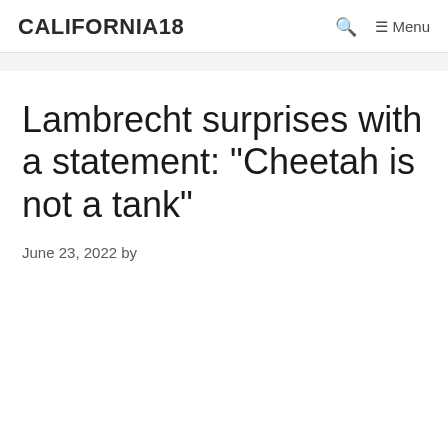CALIFORNIA18  Menu
Lambrecht surprises with a statement: "Cheetah is not a tank"
June 23, 2022 by